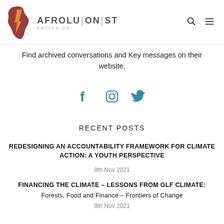[Figure (logo): Afrolutionist logo with Africa map silhouette in red and yellow/red lightning bolt, with brand name AFROLUTIONIST and tagline SWITCH ON]
Find archived conversations and Key messages on their website.
[Figure (infographic): Social media icons: Facebook, Instagram, Twitter in teal/blue color]
RECENT POSTS
REDESIGNING AN ACCOUNTABILITY FRAMEWORK FOR CLIMATE ACTION: A YOUTH PERSPECTIVE
9th Nov 2021
FINANCING THE CLIMATE – LESSONS FROM GLF CLIMATE: Forests, Food and Finance – Frontiers of Change
9th Nov 2021